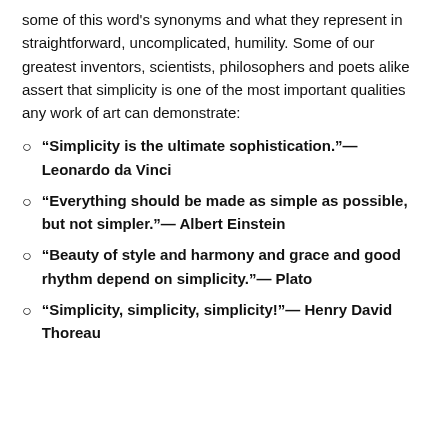some of this word's synonyms and what they represent in straightforward, uncomplicated, humility. Some of our greatest inventors, scientists, philosophers and poets alike assert that simplicity is one of the most important qualities any work of art can demonstrate:
“Simplicity is the ultimate sophistication.”— Leonardo da Vinci
“Everything should be made as simple as possible, but not simpler.”— Albert Einstein
“Beauty of style and harmony and grace and good rhythm depend on simplicity.”— Plato
“Simplicity, simplicity, simplicity!”— Henry David Thoreau